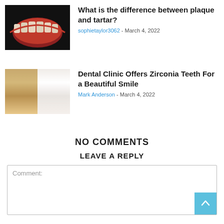[Figure (photo): Dental photo showing plaque and tartar on teeth from below]
What is the difference between plaque and tartar?
sophietaylor3062 - March 4, 2022
[Figure (photo): Side-by-side dental photo showing discolored teeth vs. zirconia white teeth]
Dental Clinic Offers Zirconia Teeth For a Beautiful Smile
Mark Anderson - March 4, 2022
NO COMMENTS
LEAVE A REPLY
Comment: